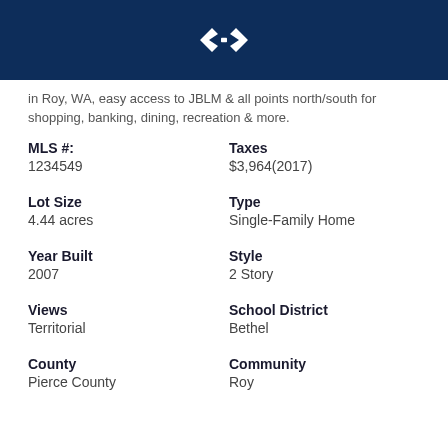[Figure (logo): Windermere or similar real estate brand logo — white diamond/arrow icon on dark navy background]
in Roy, WA, easy access to JBLM & all points north/south for shopping, banking, dining, recreation & more.
| MLS #: | Taxes |
| 1234549 | $3,964(2017) |
| Lot Size | Type |
| 4.44 acres | Single-Family Home |
| Year Built | Style |
| 2007 | 2 Story |
| Views | School District |
| Territorial | Bethel |
| County | Community |
| Pierce County | Roy |